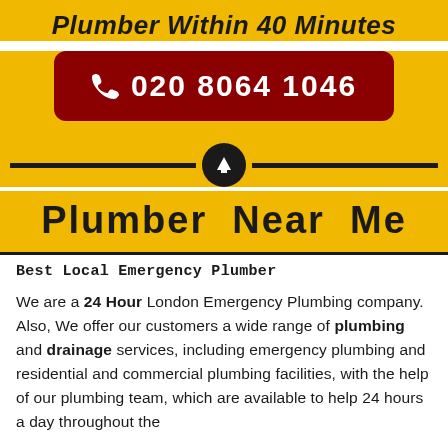Plumber Within 40 Minutes
[Figure (infographic): Dark red rounded rectangle button with phone icon and phone number 020 8064 1046 in white text]
[Figure (infographic): Horizontal divider with black circle containing upward arrow in center]
Plumber Near Me
Best Local Emergency Plumber
We are a 24 Hour London Emergency Plumbing company. Also, We offer our customers a wide range of plumbing and drainage services, including emergency plumbing and residential and commercial plumbing facilities, with the help of our plumbing team, which are available to help 24 hours a day throughout the